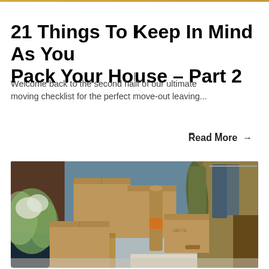21 Things To Keep In Mind As You Pack Your House – Part 2
Welcome back to the second half of our ultimate moving checklist for the perfect move-out leaving...
Read More →
[Figure (photo): Photo of cardboard moving boxes stacked on the floor of a room, with a rolled carpet, hanging clothes in blue garment bags, a green plant on the left, and wooden furniture in the background.]